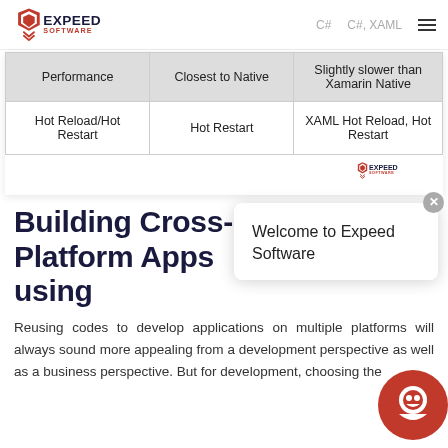Expeed Software
| Performance | Closest to Native | Slightly slower than Xamarin Native |
| --- | --- | --- |
| Hot Reload/Hot Restart | Hot Restart | XAML Hot Reload, Hot Restart |
Building Cross-Platform Apps using
Reusing codes to develop applications on multiple platforms will always sound more appealing from a development perspective as well as a business perspective. But for development, choosing the right framework is the key...